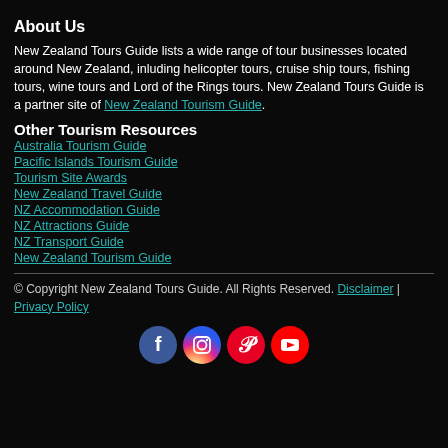About Us
New Zealand Tours Guide lists a wide range of tour businesses located around New Zealand, inluding helicopter tours, cruise ship tours, fishing tours, wine tours and Lord of the Rings tours. New Zealand Tours Guide is a partner site of New Zealand Tourism Guide.
Other Tourism Resources
Australia Tourism Guide
Pacific Islands Tourism Guide
Tourism Site Awards
New Zealand Travel Guide
NZ Accommodation Guide
NZ Attractions Guide
NZ Transport Guide
New Zealand Tourism Guide
© Copyright New Zealand Tours Guide. All Rights Reserved. Disclaimer | Privacy Policy
[Figure (other): Social media icons: Facebook, Instagram, Pinterest, YouTube]